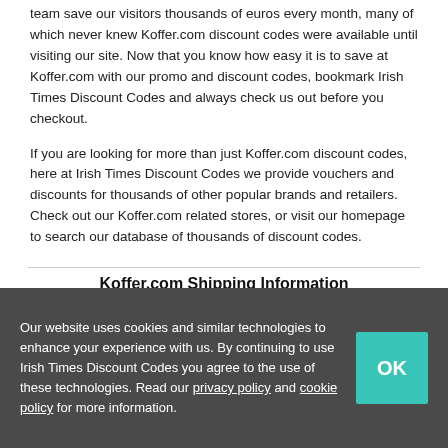team save our visitors thousands of euros every month, many of which never knew Koffer.com discount codes were available until visiting our site. Now that you know how easy it is to save at Koffer.com with our promo and discount codes, bookmark Irish Times Discount Codes and always check us out before you checkout.
If you are looking for more than just Koffer.com discount codes, here at Irish Times Discount Codes we provide vouchers and discounts for thousands of other popular brands and retailers. Check out our Koffer.com related stores, or visit our homepage to search our database of thousands of discount codes.
Koffer.com Shipping Information
Our website uses cookies and similar technologies to enhance your experience with us. By continuing to use Irish Times Discount Codes you agree to the use of these technologies. Read our privacy policy and cookie policy for more information.